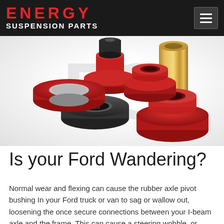ENERGY SUSPENSION PARTS
[Figure (photo): Red and black polyurethane axle pivot bushings with a gold/brass metal sleeve, arranged on a white background. Components are for Ford truck suspension systems. A watermark 'ES' is visible in the background.]
Is your Ford Wandering?
Normal wear and flexing can cause the rubber axle pivot bushing In your Ford truck or van to sag or wallow out, loosening the once secure connections between your I-beam axle and the frame. This can cause a steering wobble, or even make the steering